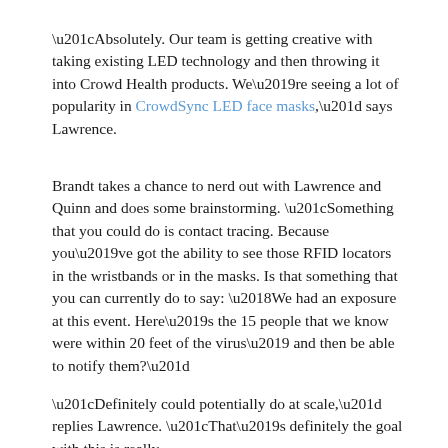“Absolutely. Our team is getting creative with taking existing LED technology and then throwing it into Crowd Health products. We’re seeing a lot of popularity in CrowdSync LED face masks,” says Lawrence.
Brandt takes a chance to nerd out with Lawrence and Quinn and does some brainstorming. “Something that you could do is contact tracing. Because you’ve got the ability to see those RFID locators in the wristbands or in the masks. Is that something that you can currently do to say: ‘We had an exposure at this event. Here’s the 15 people that we know were within 20 feet of the virus’ and then be able to notify them?”
“Definitely could potentially do at scale,” replies Lawrence. “That’s definitely the goal with this is really